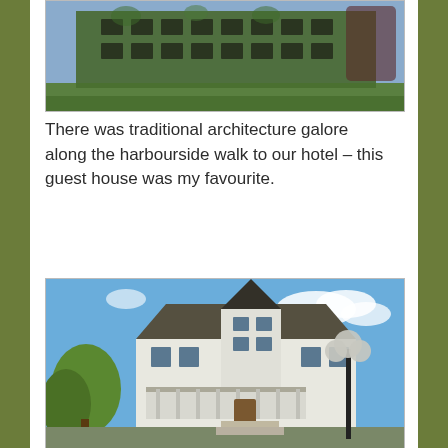[Figure (photo): A large ivy-covered stone building with green lawns in front, photographed on a sunny day. Appears to be a historic government or university building.]
There was traditional architecture galore along the harbourside walk to our hotel – this guest house was my favourite.
[Figure (photo): A white Victorian-style guest house with a pointed turret roof, wrap-around porch, and decorative trim. A black lamp post with globe lights is in the foreground. Blue sky with clouds in the background.]